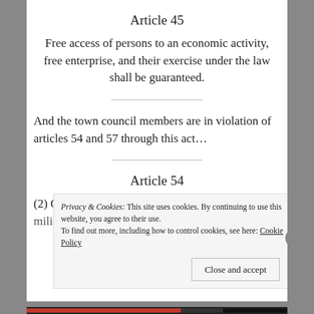Article 45
Free access of persons to an economic activity, free enterprise, and their exercise under the law shall be guaranteed.
And the town council members are in violation of articles 54 and 57 through this act...
Article 54
(2) Citizens holding public offices, as well as the military are liable for the lawful fulfilment of the
Privacy & Cookies: This site uses cookies. By continuing to use this website, you agree to their use.
To find out more, including how to control cookies, see here: Cookie Policy